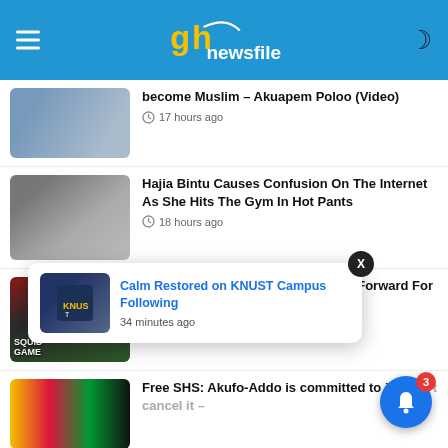GH Newsfile
become Muslim – Akuapem Poloo (Video)
17 hours ago
Hajia Bintu Causes Confusion On The Internet As She Hits The Gym In Hot Pants
18 hours ago
Squid Game: Here's What To Look Forward For In Season 2
22 hours ago
Free SHS: Akufo-Addo is committed to its won't cancel it –
Calm Restored on KNUST Campus Following
34 minutes ago
Kanye West receives harsh criticism from